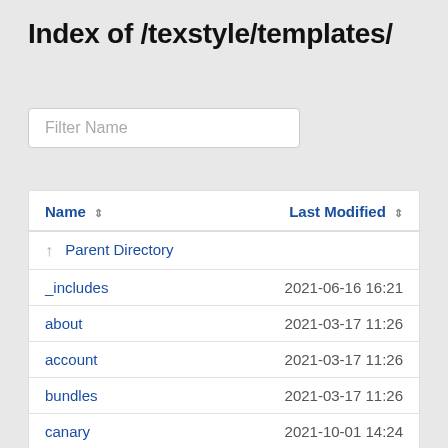Index of /texstyle/templates/
| Name | Last Modified |
| --- | --- |
| ↑ Parent Directory |  |
| _includes | 2021-06-16 16:21 |
| about | 2021-03-17 11:26 |
| account | 2021-03-17 11:26 |
| bundles | 2021-03-17 11:26 |
| canary | 2021-10-01 14:24 |
| collections | 2021-03-17 11:26 |